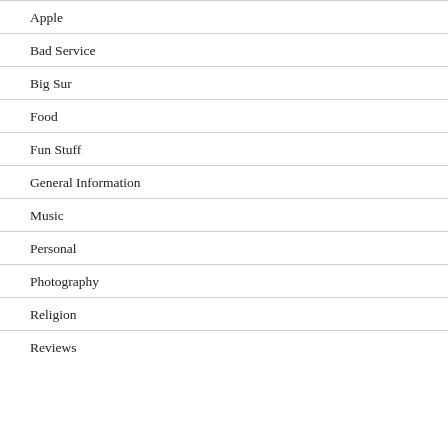Apple
Bad Service
Big Sur
Food
Fun Stuff
General Information
Music
Personal
Photography
Religion
Reviews